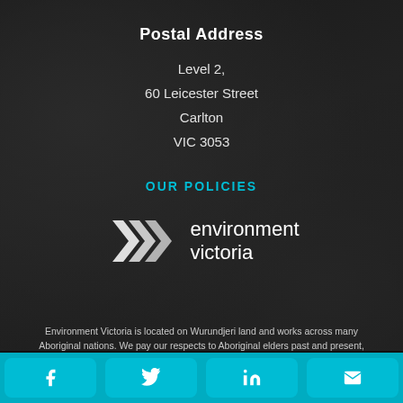Postal Address
Level 2,
60 Leicester Street
Carlton
VIC 3053
OUR POLICIES
[Figure (logo): Environment Victoria logo with white arrow chevrons and text 'environment victoria']
Environment Victoria is located on Wurundjeri land and works across many Aboriginal nations. We pay our respects to Aboriginal elders past and present, recognise their continuing contribution to caring for country, and acknowledge that sovereignty was never ceded.
This site is a copyright of Environment Victoria. Middle copy not allocated.
Facebook | Twitter | LinkedIn | Email